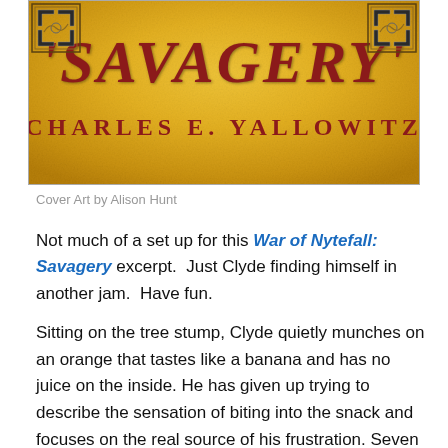[Figure (illustration): Book cover image on a gold/yellow leather-textured background with decorative corner ornaments. Title 'SAVAGERY' in large dark red italic text and author name 'CHARLES E. YALLOWITZ' in dark red spaced capital letters.]
Cover Art by Alison Hunt
Not much of a set up for this War of Nytefall: Savagery excerpt.  Just Clyde finding himself in another jam.  Have fun.
Sitting on the tree stump, Clyde quietly munches on an orange that tastes like a banana and has no juice on the inside. He has given up trying to describe the sensation of biting into the snack and focuses on the real source of his frustration. Seven paths are connected to the circular clearing, which has a dome of thickly intertwined branches